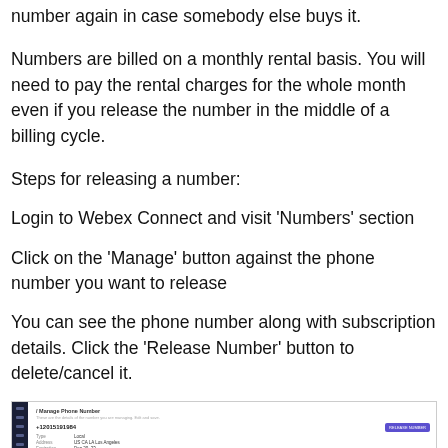number again in case somebody else buys it.
Numbers are billed on a monthly rental basis. You will need to pay the rental charges for the whole month even if you release the number in the middle of a billing cycle.
Steps for releasing a number:
Login to Webex Connect and visit 'Numbers' section
Click on the 'Manage' button against the phone number you want to release
You can see the phone number along with subscription details. Click the 'Release Number' button to delete/cancel it.
[Figure (screenshot): Screenshot of the Manage Phone Number page in Webex Connect showing a phone number, its details (Type, Address, Expiration date), a purple 'RELEASE NUMBER' button, Behaviors and Routes sections, and Renewal Payments section.]